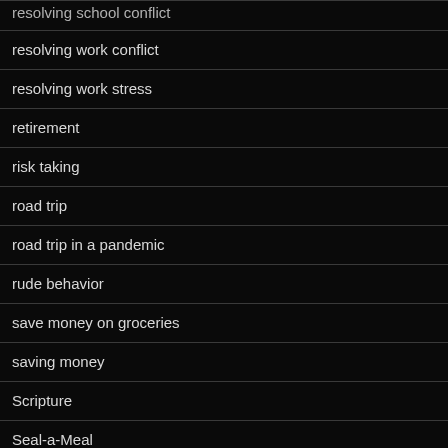resolving school conflict
resolving work conflict
resolving work stress
retirement
risk taking
road trip
road trip in a pandemic
rude behavior
save money on groceries
saving money
Scripture
Seal-a-Meal
secondary radio for vandwelling